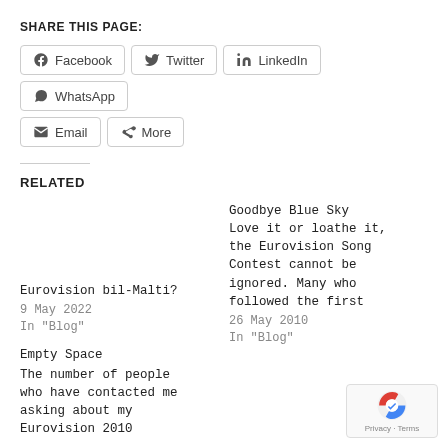SHARE THIS PAGE:
Facebook  Twitter  LinkedIn  WhatsApp  Email  More
RELATED
Eurovision bil-Malti?
9 May 2022
In "Blog"
Goodbye Blue Sky Love it or loathe it, the Eurovision Song Contest cannot be ignored. Many who followed the first
26 May 2010
In "Blog"
Empty Space The number of people who have contacted me asking about my Eurovision 2010